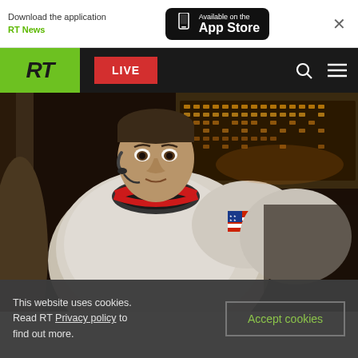[Figure (screenshot): App Store download banner with RT News app promotion and Available on the App Store button with phone icon, and close X button]
[Figure (screenshot): RT News navigation bar with green RT logo box, red LIVE button, search icon and hamburger menu on dark background]
[Figure (photo): Photo of an astronaut in a white spacesuit with American flag patch, red and black collar ring, wearing a headset microphone, inside a spacecraft cockpit with instrument panels visible in background]
This website uses cookies. Read RT Privacy policy to find out more.
Accept cookies